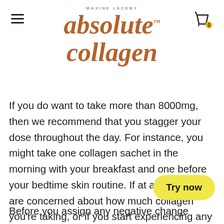MAXINE LACEBY absolute collagen™
If you do want to take more than 8000mg, then we recommend that you stagger your dose throughout the day. For instance, you might take one collagen sachet in the morning with your breakfast and one before your bedtime skin routine. If at any point you are concerned about how much collagen you're taking, or if you start experiencing any strange symptoms, it is worth consulting with your doctor.
Before you assign any negative change